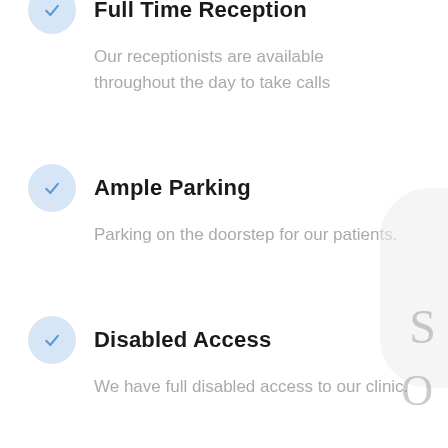Full Time Reception — Our receptionists are available throughout the day to take calls
Ample Parking — Parking on the doorstep for our patients.
Disabled Access — We have full disabled access to our clinic.